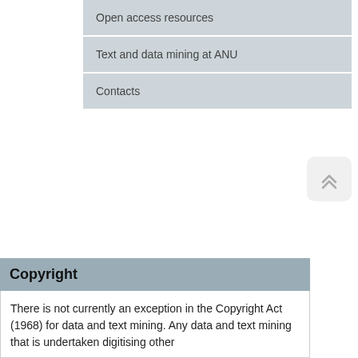Open access resources
Text and data mining at ANU
Contacts
[Figure (other): Back to top button with double chevron up arrow icon, rounded square shape in light gray]
Copyright
There is not currently an exception in the Copyright Act (1968) for data and text mining. Any data and text mining that is undertaken digitising other